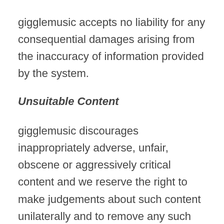gigglemusic accepts no liability for any consequential damages arising from the inaccuracy of information provided by the system.
Unsuitable Content
gigglemusic discourages inappropriately adverse, unfair, obscene or aggressively critical content and we reserve the right to make judgements about such content unilaterally and to remove any such material.